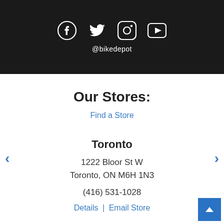[Figure (illustration): Dark banner with white social media icons: Facebook, Twitter, Instagram, YouTube]
@bikedepot
Our Stores:
Find a Store
Toronto
1222 Bloor St W
Toronto, ON M6H 1N3
(416) 531-1028
Details | Email Store